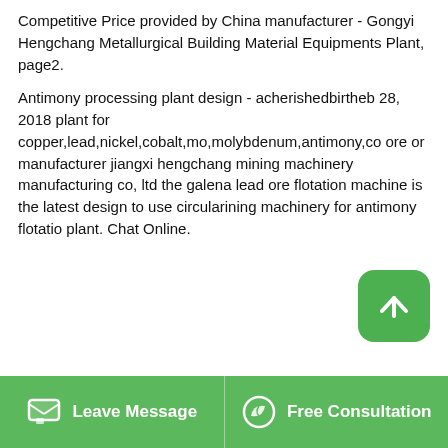Competitive Price provided by China manufacturer - Gongyi Hengchang Metallurgical Building Material Equipments Plant, page2.
Antimony processing plant design - acherishedbirtheb 28, 2018 plant for copper,lead,nickel,cobalt,mo,molybdenum,antimony,co ore or manufacturer jiangxi hengchang mining machinery manufacturing co, ltd the galena lead ore flotation machine is the latest design to use circularining machinery for antimony flotation plant. Chat Online.
[Figure (photo): Aerial view of an outdoor mining/processing plant with machinery, pipes, rocky terrain, and blue industrial equipment visible.]
Leave Message   Free Consultation